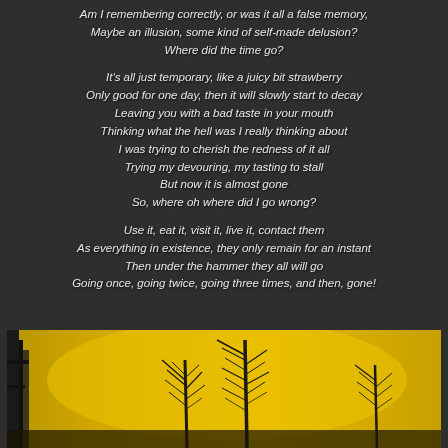Am I remembering correctly, or was it all a false memory,
Maybe an illusion, some kind of self-made delusion?
Where did the time go?
It's all just temporary, like a juicy bit strawberry
Only good for one day, then it will slowly start to decay
Leaving you with a bad taste in your mouth
Thinking what the hell was I really thinking about
I was trying to cherish the redness of it all
Trying my devouring, my tasting to stall
But now it is almost gone
So, where oh where did I go wrong?
Use it, eat it, visit it, live it, contact them
As everything in existence, they only remain for an instant
Then under the hammer they all will go
Going once, going twice, going three times, and then, gone!
[Figure (photo): Silhouette of bare trees against a golden-yellow sunset sky, with a dark vertical structure on the left side.]